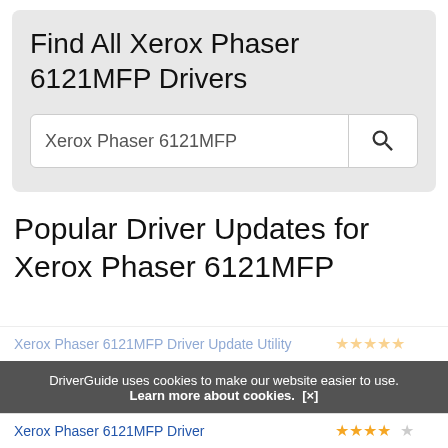Find All Xerox Phaser 6121MFP Drivers
[Figure (screenshot): Search input box with text 'Xerox Phaser 6121MFP' and a magnifying glass search button on the right]
Popular Driver Updates for Xerox Phaser 6121MFP
Xerox Phaser 6121MFP Driver Update Utility
[Figure (other): Five gold stars rating]
DriverGuide uses cookies to make our website easier to use. Learn more about cookies. [x]
Xerox Phaser 6121MFP Driver
[Figure (other): Four gold stars and one gray star rating]